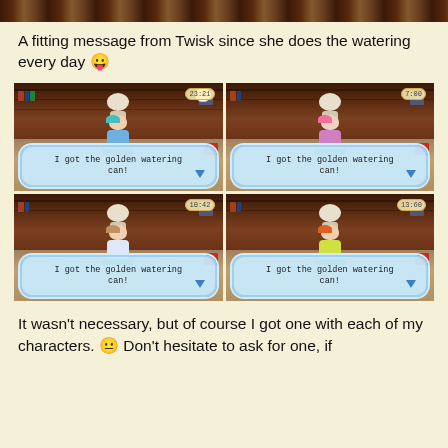[Figure (screenshot): Top strip of a decorative background image, partially cropped]
A fitting message from Twisk since she does the watering every day 😛
[Figure (screenshot): Four screenshots from Animal Crossing video game arranged in a 2x2 grid, each showing a player character receiving 'I got the golden watering can!' message from a duck NPC named Twisk, at times 23:21, 7:00, 10:42, and 13:60]
It wasn't necessary, but of course I got one with each of my characters. 😐 Don't hesitate to ask for one, if